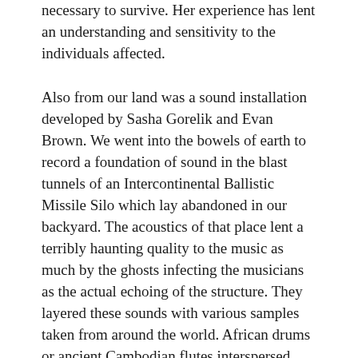necessary to survive. Her experience has lent an understanding and sensitivity to the individuals affected.
Also from our land was a sound installation developed by Sasha Gorelik and Evan Brown. We went into the bowels of earth to record a foundation of sound in the blast tunnels of an Intercontinental Ballistic Missile Silo which lay abandoned in our backyard. The acoustics of that place lent a terribly haunting quality to the music as much by the ghosts infecting the musicians as the actual echoing of the structure. They layered these sounds with various samples taken from around the world. African drums or ancient Cambodian flutes interspersed with institutionalized accounts of various genocides make the work relevant on a global scale. A phenomenal work that heightens the effects of the three themes explored in the installations which